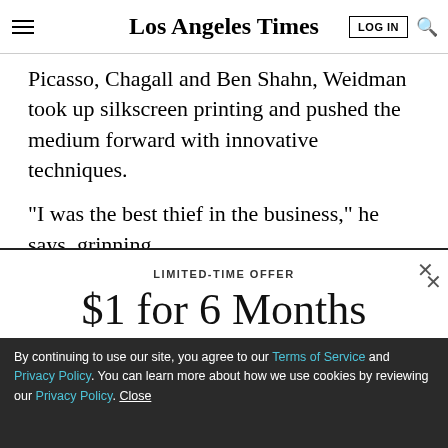Los Angeles Times
Picasso, Chagall and Ben Shahn, Weidman took up silkscreen printing and pushed the medium forward with innovative techniques.
“I was the best thief in the business,” he says, grinning
LIMITED-TIME OFFER
$1 for 6 Months
SUBSCRIBE NOW
By continuing to use our site, you agree to our Terms of Service and Privacy Policy. You can learn more about how we use cookies by reviewing our Privacy Policy. Close